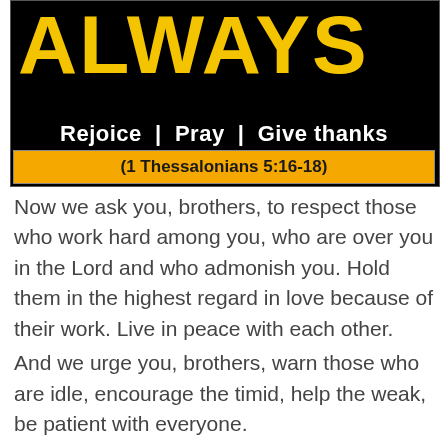[Figure (illustration): Black background graphic with large yellow bold text 'ALWAYS', white subtitle 'Rejoice | Pray | Give thanks', and an orange bar with text '(1 Thessalonians 5:16-18)']
Now we ask you, brothers, to respect those who work hard among you, who are over you in the Lord and who admonish you. Hold them in the highest regard in love because of their work. Live in peace with each other.
And we urge you, brothers, warn those who are idle, encourage the timid, help the weak, be patient with everyone.